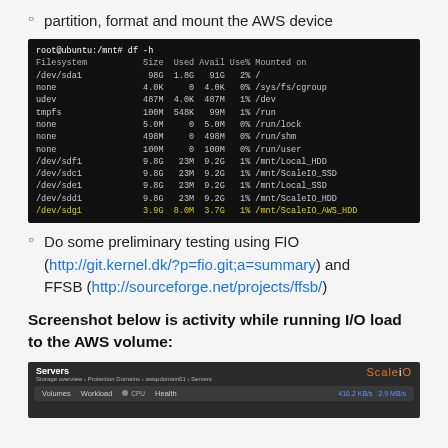partition, format and mount the AWS device
[Figure (screenshot): Terminal output of 'df -h' command showing filesystem disk usage including /dev/sdg1 mounted at /mnt/ScaleIO_AWS_HDD highlighted in yellow]
Do some preliminary testing using FIO (http://git.kernel.dk/?p=fio.git;a=summary) and FFSB (http://sourceforge.net/projects/ffsb/)
Screenshot below is activity while running I/O load to the AWS volume:
[Figure (screenshot): ScaleIO web console showing Servers view with Storage overview, Protection Domains, awspdomain01, Servers navigation. Shows Volumes, Workload, CPU, Health tabs with speed 416.2 KB/s 2.9 MB/s]